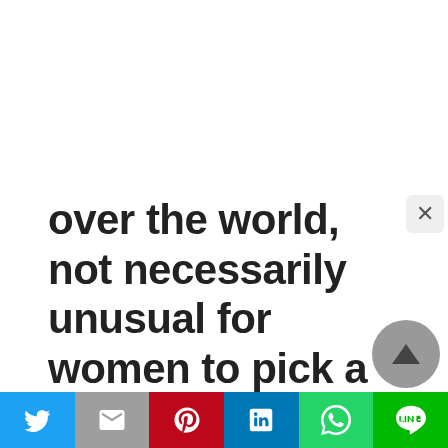over the world, not necessarily unusual for women to pick a foreign star of the wedding to get married to and to increase your ex youngsters. These days, this method much more
[Figure (screenshot): Social media share bar with Twitter, Gmail, Pinterest, LinkedIn, WhatsApp, and LINE buttons at the bottom of a webpage. A close (×) button in the top right and a scroll-up button in the lower right.]